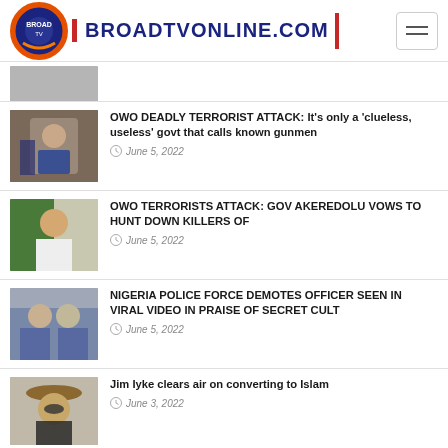BROADTVONLINE.COM
[Figure (photo): Partially visible article thumbnail (gray/cut off at top)]
[Figure (photo): Photo of a man in a suit gesturing]
OWO DEADLY TERRORIST ATTACK: It's only a 'clueless, useless' govt that calls known gunmen
June 5, 2022
[Figure (photo): Photo of a man in white clothing]
OWO TERRORISTS ATTACK: GOV AKEREDOLU VOWS TO HUNT DOWN KILLERS OF
June 5, 2022
[Figure (photo): Photo of police officers]
NIGERIA POLICE FORCE DEMOTES OFFICER SEEN IN VIRAL VIDEO IN PRAISE OF SECRET CULT
June 5, 2022
[Figure (photo): Photo of a man wearing a hat and sunglasses]
Jim Iyke clears air on converting to Islam
June 3, 2022